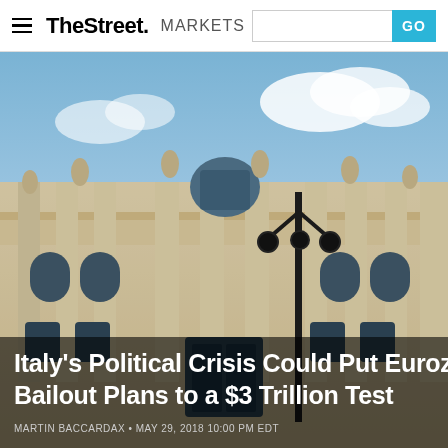TheStreet MARKETS
[Figure (photo): Exterior facade of the Borsa Italiana (Milan Stock Exchange) building, a neoclassical stone building with large columns, arched windows, and statues on the roofline, photographed against a partly cloudy blue sky.]
Italy's Political Crisis Could Put Eurozone Bailout Plans to a $3 Trillion Test
MARTIN BACCARDAX • MAY 29, 2018 10:00 PM EDT